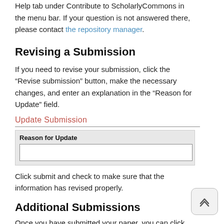Help tab under Contribute to ScholarlyCommons in the menu bar. If your question is not answered there, please contact the repository manager.
Revising a Submission
If you need to revise your submission, click the “Revise submission” button, make the necessary changes, and enter an explanation in the “Reason for Update” field.
[Figure (screenshot): Screenshot showing an 'Update Submission' form with a 'Reason for Update' text input field.]
Click submit and check to make sure that the information has revised properly.
Additional Submissions
Once you have submitted your paper, you can click the